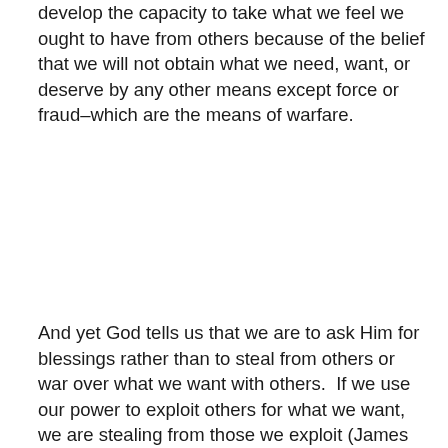develop the capacity to take what we feel we ought to have from others because of the belief that we will not obtain what we need, want, or deserve by any other means except force or fraud–which are the means of warfare.
And yet God tells us that we are to ask Him for blessings rather than to steal from others or war over what we want with others.  If we use our power to exploit others for what we want, we are stealing from those we exploit (James 5:4-6), and will suffer judgment from God accordingly for that theft.  We are to seek the blessings of God for His pleasure, and not for our own, for His will, and not ours.  Only then will we be able to live in peace, when we have all submitted to His authority and live by His standard.  Until then we must be prepared to defend ourselves with the help of God in the knowledge that others wish to lust